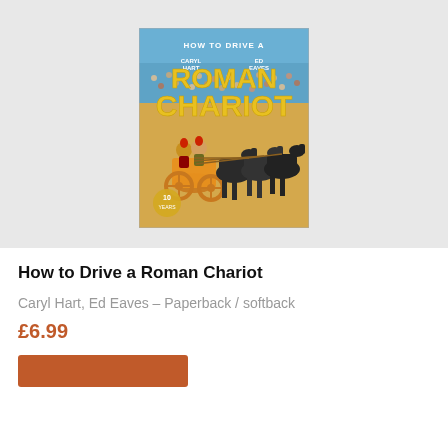[Figure (illustration): Book cover of 'How to Drive a Roman Chariot' by Caryl Hart and Ed Eaves. Shows cartoon Roman charioteers racing four black horses in an arena, with a crowd in the background. The title is displayed in bold yellow and white text. A gold anniversary badge is in the lower left corner.]
How to Drive a Roman Chariot
Caryl Hart, Ed Eaves – Paperback / softback
£6.99